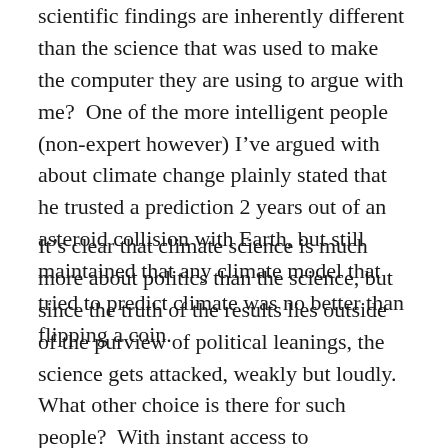scientific findings are inherently different than the science that was used to make the computer they are using to argue with me?  One of the more intelligent people (non-expert however) I've argued with about climate change plainly stated that he trusted a prediction 2 years out of an asteroid collision with Earth, but still maintained that any climate model that tried to predict climate was no better than flipping a coin.
It's clear that climate science is much more about politics than the science, but since the truth of the results lies outside of the purview of political leanings, the science gets attacked, weakly but loudly.  What other choice is there for such people?  With instant access to information, the perception that one can be knowledgeable on any number of broad topics and